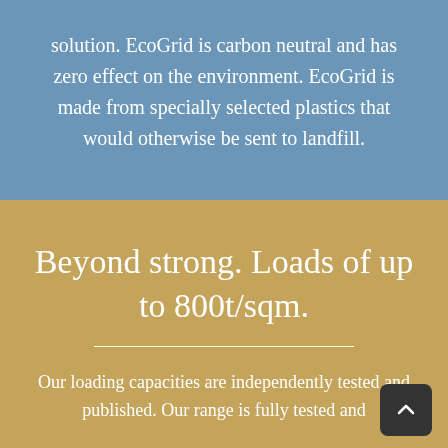solution. EcoGrid is carbon neutral and has zero effect on the environment. EcoGrid is made from specially selected plastics that would otherwise be sent to landfill.
Beyond strong. Loads of up to 800t/sqm.
Our loading capacities are independently tested and published. Our range is fully tested and